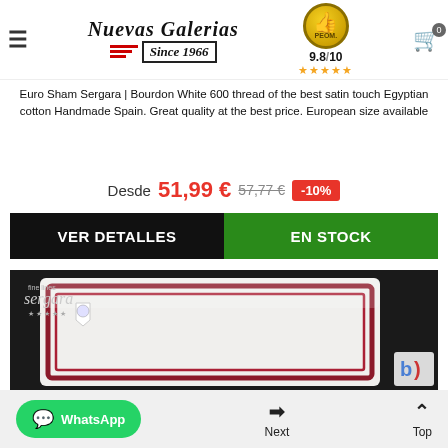Nuevas Galerias — Since 1966 — 9.8/10 rating
Euro Sham Sergara | Bourdon White 600 thread of the best satin touch Egyptian cotton Handmade Spain. Great quality at the best price. European size available
Desde 51,99 € 57,77 € -10%
VER DETALLES | EN STOCK
[Figure (photo): White pillow with burgundy/dark red satin border trim against dark background, with Sergara brand label visible]
WhatsApp | Next | Top